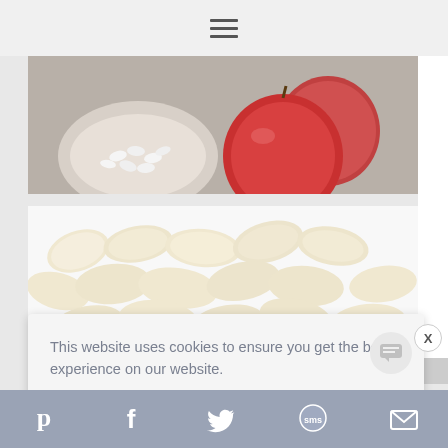[Figure (photo): Food photo showing apples and white beans above, sliced apple pieces in a white baking dish below]
This website uses cookies to ensure you get the best experience on our website.
Learn more
Got it!
[Figure (other): Social share bar with Pinterest, Facebook, Twitter, SMS, and email icons on a blue-grey background]